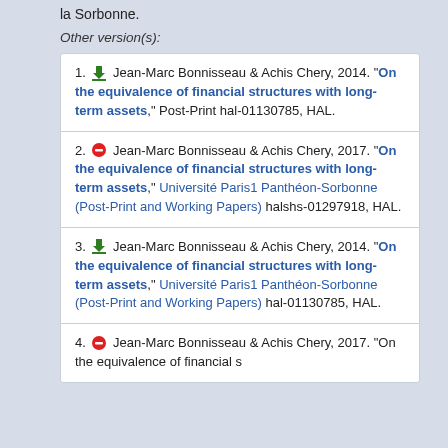la Sorbonne.
Other version(s):
1. Jean-Marc Bonnisseau & Achis Chery, 2014. "On the equivalence of financial structures with long-term assets," Post-Print hal-01130785, HAL.
2. Jean-Marc Bonnisseau & Achis Chery, 2017. "On the equivalence of financial structures with long-term assets," Université Paris1 Panthéon-Sorbonne (Post-Print and Working Papers) halshs-01297918, HAL.
3. Jean-Marc Bonnisseau & Achis Chery, 2014. "On the equivalence of financial structures with long-term assets," Université Paris1 Panthéon-Sorbonne (Post-Print and Working Papers) hal-01130785, HAL.
4. Jean-Marc Bonnisseau & Achis Chery, 2017. "On the equivalence of financial structures with long-term assets,...